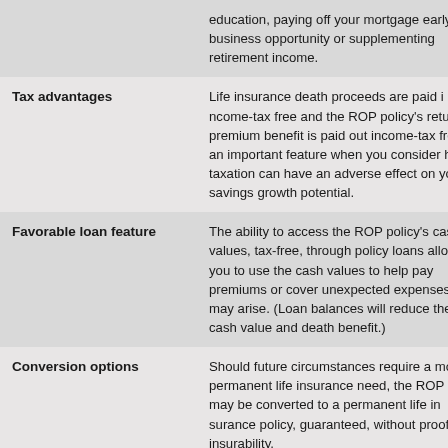| Feature | Description |
| --- | --- |
|  | education, paying off your mortgage early, a business opportunity or supplementing retirement income. |
| Tax advantages | Life insurance death proceeds are paid income-tax free and the ROP policy's return of premium benefit is paid out income-tax free, an important feature when you consider how taxation can have an adverse effect on your savings growth potential. |
| Favorable loan feature | The ability to access the ROP policy's cash values, tax-free, through policy loans allows you to use the cash values to help pay premiums or cover unexpected expenses that may arise. (Loan balances will reduce the cash value and death benefit.) |
| Conversion options | Should future circumstances require a more permanent life insurance need, the ROP policy may be converted to a permanent life insurance policy, guaranteed, without proof of insurability. |
| Non-forfeiture provisions | The ROP policy provides other choices |